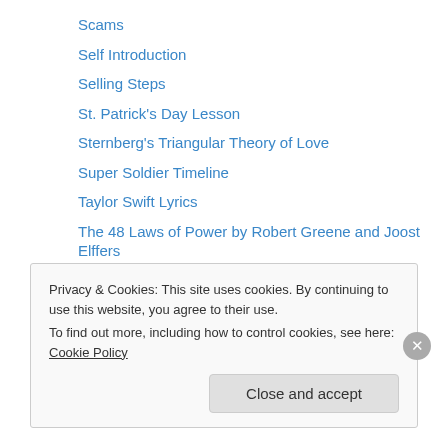Scams
Self Introduction
Selling Steps
St. Patrick's Day Lesson
Sternberg's Triangular Theory of Love
Super Soldier Timeline
Taylor Swift Lyrics
The 48 Laws of Power by Robert Greene and Joost Elffers
The Five W's
The Flintstones Machine/Tool Exercise
The Graduate Lyrics
Types of Energy
Types of Groups Exercise
Privacy & Cookies: This site uses cookies. By continuing to use this website, you agree to their use. To find out more, including how to control cookies, see here: Cookie Policy